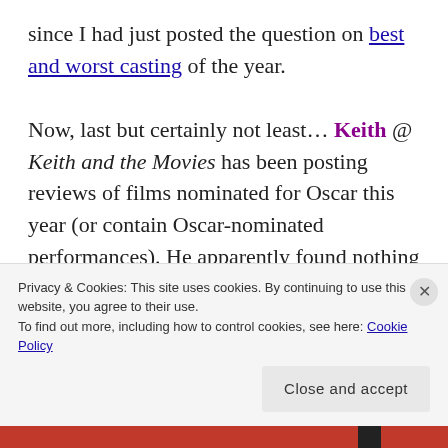since I had just posted the question on best and worst casting of the year.

Now, last but certainly not least… Keith @ Keith and the Movies has been posting reviews of films nominated for Oscar this year (or contain Oscar-nominated performances). He apparently found nothing objectionable about Michael Haneke's Amour, giving it a full 5 stars. Find out why in his Amour review.
Privacy & Cookies: This site uses cookies. By continuing to use this website, you agree to their use.
To find out more, including how to control cookies, see here: Cookie Policy